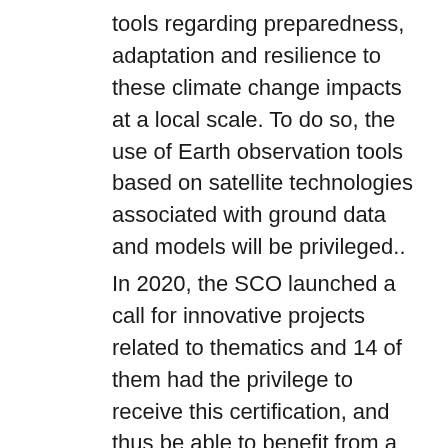tools regarding preparedness, adaptation and resilience to these climate change impacts at a local scale. To do so, the use of Earth observation tools based on satellite technologies associated with ground data and models will be privileged..
In 2020, the SCO launched a call for innovative projects related to thematics and 14 of them had the privilege to receive this certification, and thus be able to benefit from a financial contribution from the CNES to carry it out.